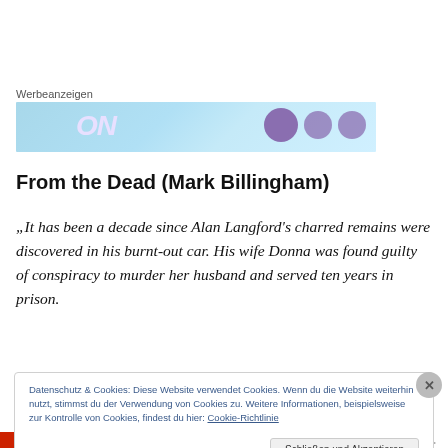Werbeanzeigen
[Figure (other): Advertisement banner with light blue gradient background, stylized text 'ON' and purple circles]
From the Dead (Mark Billingham)
„It has been a decade since Alan Langford's charred remains were discovered in his burnt-out car. His wife Donna was found guilty of conspiracy to murder her husband and served ten years in prison.
Datenschutz & Cookies: Diese Website verwendet Cookies. Wenn du die Website weiterhin nutzt, stimmst du der Verwendung von Cookies zu. Weitere Informationen, beispielsweise zur Kontrolle von Cookies, findest du hier: Cookie-Richtlinie
Schließen und Akzeptieren